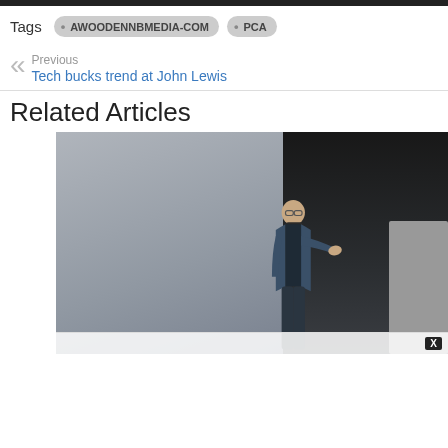Tags  AWOODENNBMEDIA-COM  PCA
Previous
Tech bucks trend at John Lewis
Related Articles
[Figure (photo): A person standing on a stage with a grey background on the left and a dark background on the right, wearing a dark suit and gesturing with their right hand outstretched.]